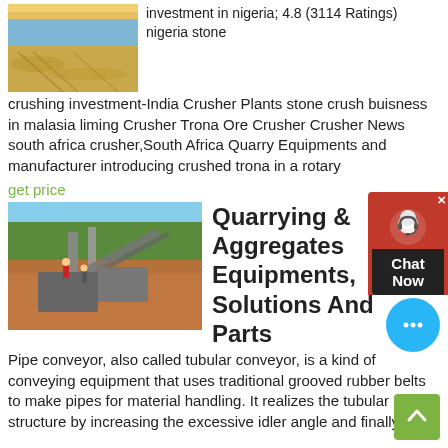[Figure (photo): Aerial/ground view of sandy terrain with vehicle tracks]
investment in nigeria; 4.8 (3114 Ratings) nigeria stone crushing investment-India Crusher Plants stone crush buisness in malasia liming Crusher Trona Ore Crusher Crusher News south africa crusher,South Africa Quarry Equipments and manufacturer introducing crushed trona in a rotary
get price
[Figure (photo): Industrial stone crushing/quarrying equipment on a muddy site with workers visible]
Quarrying & Aggregates Equipments, Solutions And Parts
Pipe conveyor, also called tubular conveyor, is a kind of conveying equipment that uses traditional grooved rubber belts to make pipes for material handling. It realizes the tubular structure by increasing the excessive idler angle and finally a